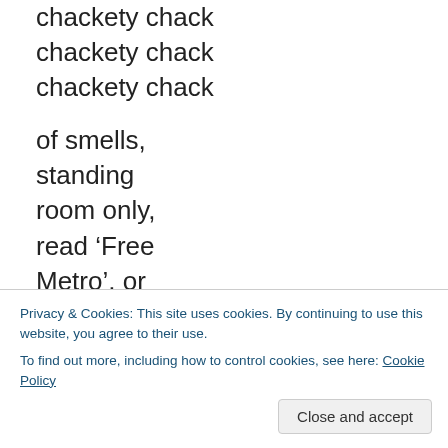chackety chack
chackety chack
chackety chack

of smells,
standing
room only,
read ‘Free
Metro’, or
‘Kindle’,
hang from
Privacy & Cookies: This site uses cookies. By continuing to use this website, you agree to their use.
To find out more, including how to control cookies, see here: Cookie Policy
chackety chack